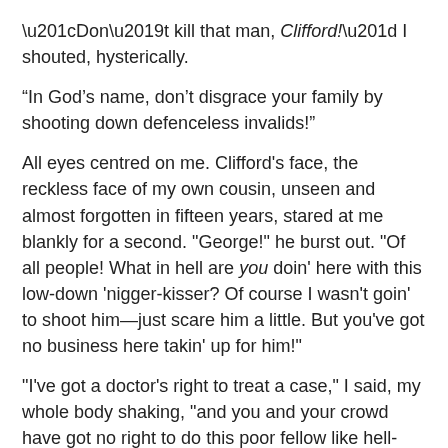“Don’t kill that man, Clifford!” I shouted, hysterically.
“In God’s name, don’t disgrace your family by shooting down defenceless invalids!”
All eyes centred on me. Clifford's face, the reckless face of my own cousin, unseen and almost forgotten in fifteen years, stared at me blankly for a second. "George!" he burst out. "Of all people! What in hell are you doin' here with this low-down 'nigger-kisser? Of course I wasn't goin' to shoot him—just scare him a little. But you've got no business here takin' up for him!"
"I've got a doctor's right to treat a case," I said, my whole body shaking, "and you and your crowd have got no right to do this poor fellow like hell-hounds till he's afraid to his soul his own. How could a Baldwin ever do that?"
“Because...